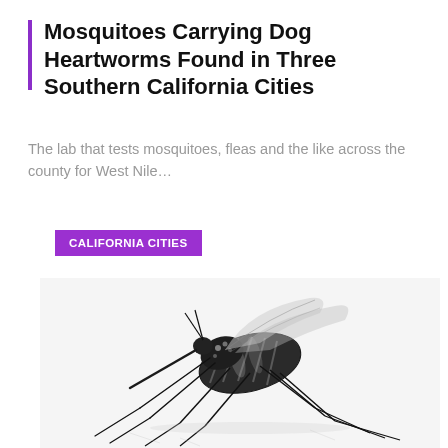Mosquitoes Carrying Dog Heartworms Found in Three Southern California Cities
The lab that tests mosquitoes, fleas and the like across the county for West Nile…
CALIFORNIA CITIES
[Figure (photo): Close-up photograph of a mosquito on a white surface, showing detailed black and white markings on its body and long thin legs, with a reflection visible below.]